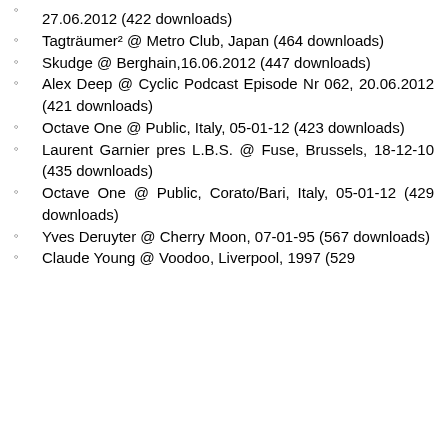27.06.2012 (422 downloads)
Tagträumer² @ Metro Club, Japan (464 downloads)
Skudge @ Berghain,16.06.2012 (447 downloads)
Alex Deep @ Cyclic Podcast Episode Nr 062, 20.06.2012 (421 downloads)
Octave One @ Public, Italy, 05-01-12 (423 downloads)
Laurent Garnier pres L.B.S. @ Fuse, Brussels, 18-12-10 (435 downloads)
Octave One @ Public, Corato/Bari, Italy, 05-01-12 (429 downloads)
Yves Deruyter @ Cherry Moon, 07-01-95 (567 downloads)
Claude Young @ Voodoo, Liverpool, 1997 (529